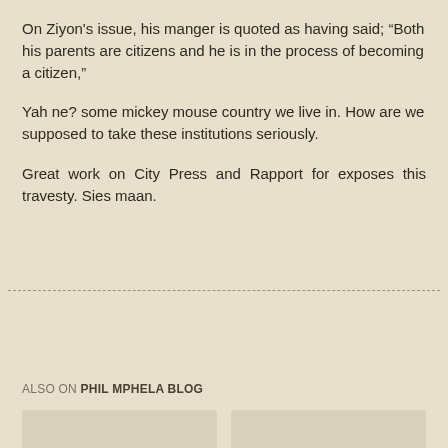On Ziyon's issue, his manger is quoted as having said; “Both his parents are citizens and he is in the process of becoming a citizen,”
Yah ne? some mickey mouse country we live in. How are we supposed to take these institutions seriously.
Great work on City Press and Rapport for exposes this travesty. Sies maan.
Share
ALSO ON PHIL MPHELA BLOG